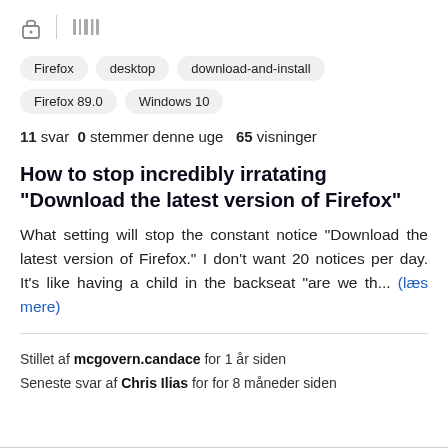[Figure (other): Browser address bar icons: lock icon and library/bookmarks icon]
Firefox
desktop
download-and-install
Firefox 89.0
Windows 10
11 svar  0 stemmer denne uge  65 visninger
How to stop incredibly irratating "Download the latest version of Firefox"
What setting will stop the constant notice "Download the latest version of Firefox." I don't want 20 notices per day. It's like having a child in the backseat "are we th... (læs mere)
Stillet af mcgovern.candace for 1 år siden
Seneste svar af Chris Ilias for for 8 måneder siden